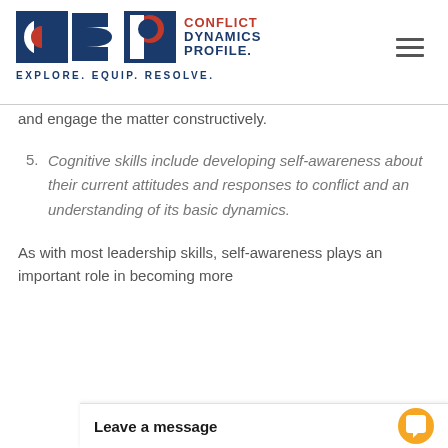[Figure (logo): Conflict Dynamics Profile logo with CDP letters and tagline EXPLORE. EQUIP. RESOLVE.]
and engage the matter constructively.
5. Cognitive skills include developing self-awareness about their current attitudes and responses to conflict and an understanding of its basic dynamics.
As with most leadership skills, self-awareness plays an important role in becoming more